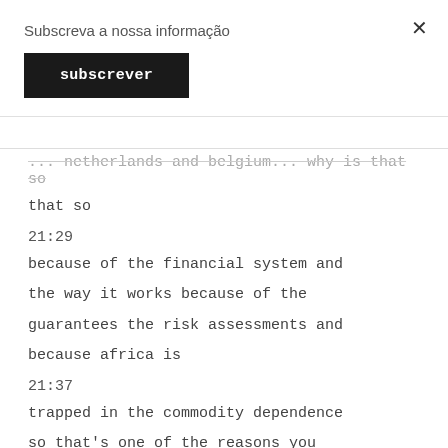Subscreva a nossa informação
subscrever
... netherlands and belgium... why is that so
21:29
because of the financial system and the way it works because of the guarantees the risk assessments and because africa is
21:37
trapped in the commodity dependence so that's one of the reasons you